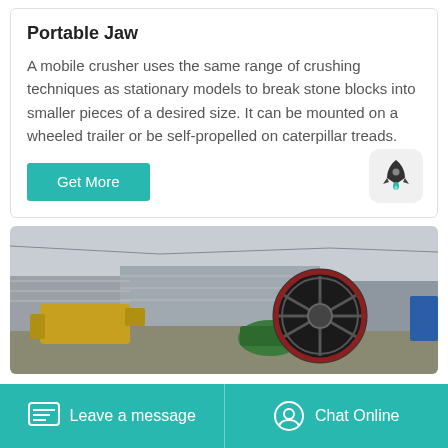Portable Jaw
A mobile crusher uses the same range of crushing techniques as stationary models to break stone blocks into smaller pieces of a desired size. It can be mounted on a wheeled trailer or be self-propelled on caterpillar treads.
[Figure (photo): Industrial machinery photo showing a large circular wheel/drum component and yellow construction equipment in an outdoor industrial yard]
Leave a message
Chat Online